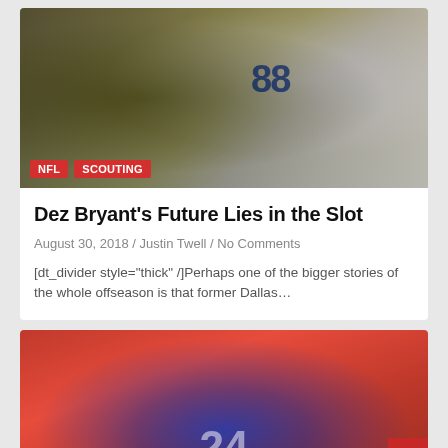[Figure (photo): NFL football action photo: player in white Dallas Cowboys #88 jersey running with ball, being tackled by player in black Pittsburgh Steelers uniform. Tags NFL and SCOUTING overlaid at bottom left.]
Dez Bryant's Future Lies in the Slot
August 30, 2018 / Justin Twell / No Comments
[dt_divider style="thick" /]Perhaps one of the bigger stories of the whole offseason is that former Dallas…
[Figure (photo): NFL football photo: New York Giants player #24 in blue helmet and uniform in crouched defensive stance, red/blurred crowd background.]